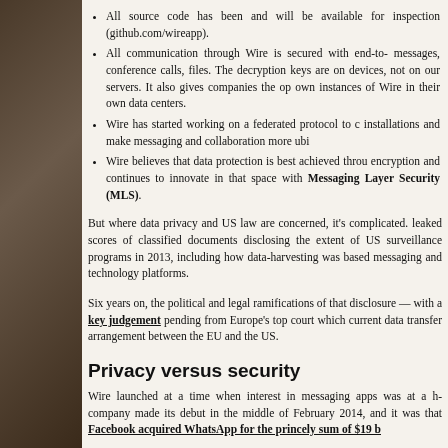All source code has been and will be available for inspection (github.com/wireapp).
All communication through Wire is secured with end-to- messages, conference calls, files. The decryption keys are on devices, not on our servers. It also gives companies the option to own instances of Wire in their own data centers.
Wire has started working on a federated protocol to connect installations and make messaging and collaboration more ubiquitous.
Wire believes that data protection is best achieved through encryption and continues to innovate in that space with Messaging Layer Security (MLS).
But where data privacy and US law are concerned, it's complicated. leaked scores of classified documents disclosing the extent of US surveillance programs in 2013, including how data-harvesting was based messaging and technology platforms.
Six years on, the political and legal ramifications of that disclosure — with a key judgement pending from Europe's top court which could current data transfer arrangement between the EU and the US.
Privacy versus security
Wire launched at a time when interest in messaging apps was at a high. company made its debut in the middle of February 2014, and it was that Facebook acquired WhatsApp for the princely sum of $19 b